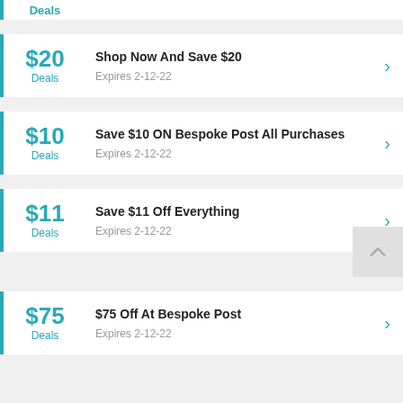Deals (partial, top)
$20 Deals – Shop Now And Save $20 – Expires 2-12-22
$10 Deals – Save $10 ON Bespoke Post All Purchases – Expires 2-12-22
$11 Deals – Save $11 Off Everything – Expires 2-12-22
$75 Deals – $75 Off At Bespoke Post – Expires 2-12-22